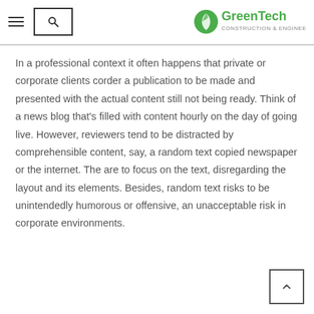[Figure (logo): GreenTech Construction & Engineering logo with green leaf icon and green/grey text]
In a professional context it often happens that private or corporate clients corder a publication to be made and presented with the actual content still not being ready. Think of a news blog that's filled with content hourly on the day of going live. However, reviewers tend to be distracted by comprehensible content, say, a random text copied newspaper or the internet. The are to focus on the text, disregarding the layout and its elements. Besides, random text risks to be unintendedly humorous or offensive, an unacceptable risk in corporate environments.
READ MORE